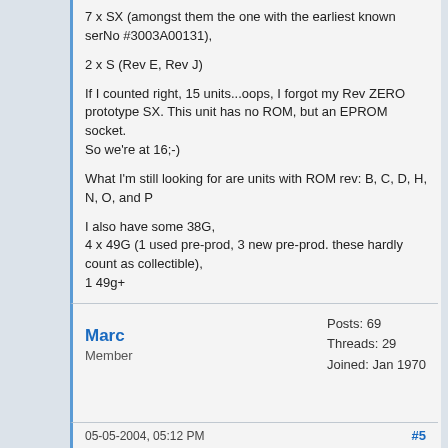7 x SX (amongst them the one with the earliest known serNo #3003A00131),

2 x S (Rev E, Rev J)

If I counted right, 15 units...oops, I forgot my Rev ZERO prototype SX. This unit has no ROM, but an EPROM socket.
So we're at 16;-)

What I'm still looking for are units with ROM rev: B, C, D, H, N, O, and P

I also have some 38G,
4 x 49G (1 used pre-prod, 3 new pre-prod. these hardly count as collectible),
1 49g+

Raymond
Marc
Member
Posts: 69
Threads: 29
Joined: Jan 1970
05-05-2004, 05:12 PM